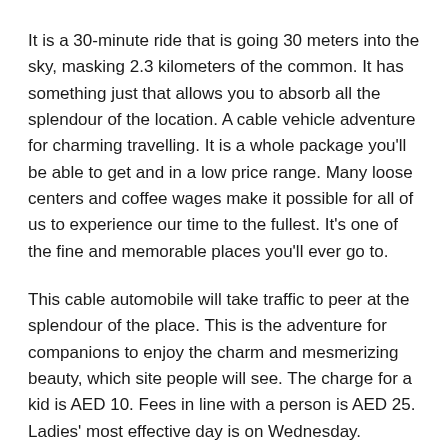It is a 30-minute ride that is going 30 meters into the sky, masking 2.3 kilometers of the common. It has something just that allows you to absorb all the splendour of the location. A cable vehicle adventure for charming travelling. It is a whole package you'll be able to get and in a low price range. Many loose centers and coffee wages make it possible for all of us to experience our time to the fullest. It's one of the fine and memorable places you'll ever go to.
This cable automobile will take traffic to peer at the splendour of the place. This is the adventure for companions to enjoy the charm and mesmerizing beauty, which site people will see. The charge for a kid is AED 10. Fees in line with a person is AED 25. Ladies' most effective day is on Wednesday.